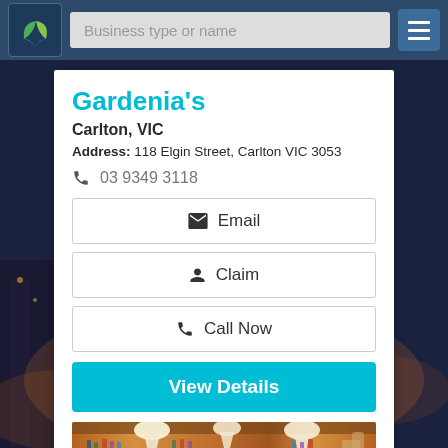Business type or name
Gardenia's
Carlton, VIC
Address: 118 Elgin Street, Carlton VIC 3053
03 9349 3118
Email
Claim
Call Now
View Details
[Figure (photo): Interior photo of a restaurant bar with bottles, shelves, and warm lighting]